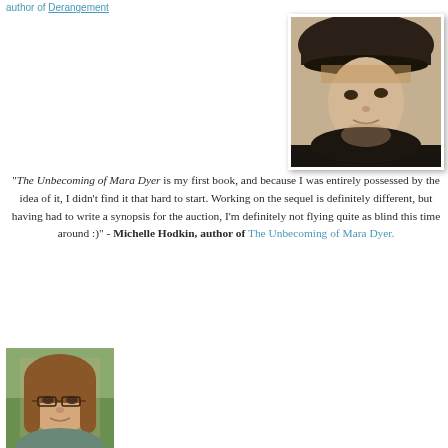author of Derangement
[Figure (photo): Black and white sepia-toned portrait photo of a person wearing a dark hat, looking downward thoughtfully]
"The Unbecoming of Mara Dyer is my first book, and because I was entirely possessed by the idea of it, I didn't find it that hard to start. Working on the sequel is definitely different, but having had to write a synopsis for the auction, I'm definitely not flying quite as blind this time around :)" - Michelle Hodkin, author of The Unbecoming of Mara Dyer.
[Figure (photo): Color photo of a woman with brown hair and glasses, outdoors]